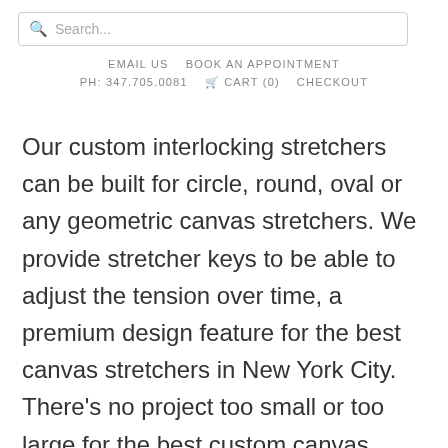Search...
EMAIL US   BOOK AN APPOINTMENT   PH: 347.705.0081   CART (0)   CHECKOUT
Our custom interlocking stretchers can be built for circle, round, oval or any geometric canvas stretchers. We provide stretcher keys to be able to adjust the tension over time, a premium design feature for the best canvas stretchers in New York City. There's no project too small or too large for the best custom canvas stretching in New York City!